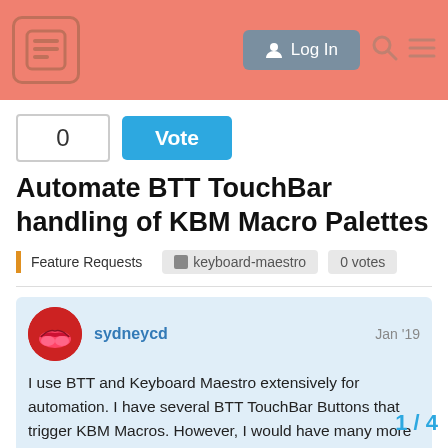Log In
Automate BTT TouchBar handling of KBM Macro Palettes
Feature Requests   keyboard-maestro   0 votes
sydneycd   Jan '19
I use BTT and Keyboard Maestro extensively for automation. I have several BTT TouchBar Buttons that trigger KBM Macros. However, I would have many more if I could automate adding KBM Palettes as BTT Button Groups containing KBM Macros in BTT as Touch Bar Buttons.
Is there anyway to achieve this without having to create each Touch Bar Button from scratch?
1 / 4